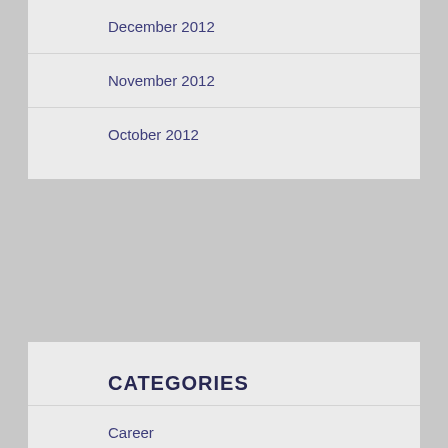December 2012
November 2012
October 2012
CATEGORIES
Career
Code for Fun
Uncategorized
Web Workshop